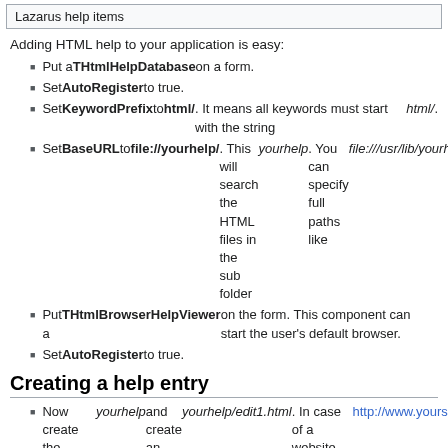Lazarus help items
Adding HTML help to your application is easy:
Put a THtmlHelpDatabase on a form.
Set AutoRegister to true.
Set KeywordPrefix to html/. It means all keywords must start with the string html/.
Set BaseURL to file://yourhelp/. This will search the HTML files in the sub folder yourhelp. You can specify full paths like file:///usr/lib/yourhelp/ or an URL like http://www.yoursite.com/ .
Put a THtmlBrowserHelpViewer on the form. This component can start the user's default browser.
Set AutoRegister to true.
Creating a help entry
Now create the subfolder yourhelp and create an HTML page yourhelp/edit1.html. In case of a website, the help page should be accessible as http://www.yoursite.com/edit1.html
Put a TEdit on a form
Set HelpType to htKeyword
Set HelpKeyword to html/edit1.html
When running the program you can focus the edit control and press F1 to invoke the help. Under macOS the help key sequence is Cmd-? (or